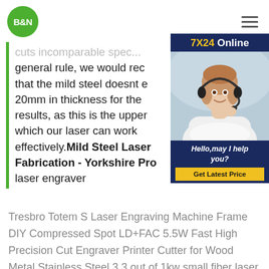[Figure (logo): B&N green circle logo]
general rule, we would reco that the mild steel doesnt e 20mm in thickness for the results, as this is the upper which our laser can work effectively.Mild Steel Laser Fabrication - Yorkshire Pro laser engraver
[Figure (photo): 7X24 Online customer service ad panel with woman wearing headset. Text: Hello,may I help you? Get Latest Price]
Tresbro Totem S Laser Engraving Machine Frame DIY Compressed Spot LD+FAC 5.5W Fast High Precision Cut Engraver Printer Cutter for Wood Metal Stainless Steel 3.3 out of 1kw small fiber laser cutter that cuts steel near me laser Small laser steel plate